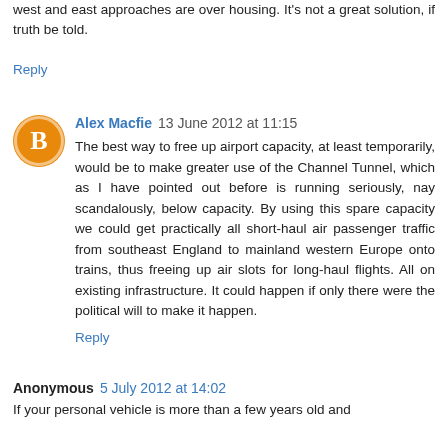west and east approaches are over housing. It's not a great solution, if truth be told.
Reply
Alex Macfie  13 June 2012 at 11:15
The best way to free up airport capacity, at least temporarily, would be to make greater use of the Channel Tunnel, which as I have pointed out before is running seriously, nay scandalously, below capacity. By using this spare capacity we could get practically all short-haul air passenger traffic from southeast England to mainland western Europe onto trains, thus freeing up air slots for long-haul flights. All on existing infrastructure. It could happen if only there were the political will to make it happen.
Reply
Anonymous  5 July 2012 at 14:02
If your personal vehicle is more than a few years old and